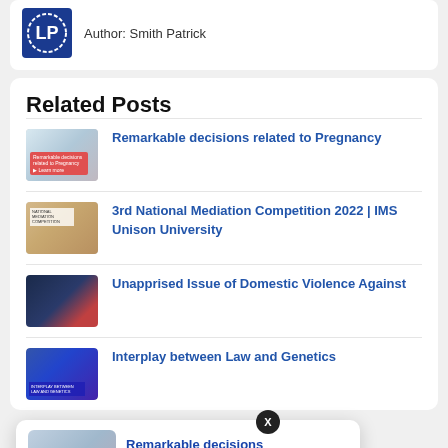Author: Smith Patrick
Related Posts
Remarkable decisions related to Pregnancy
3rd National Mediation Competition 2022 | IMS Unison University
Unapprised Issue of Domestic Violence Against
Interplay between Law and Genetics
[Figure (screenshot): Popup notification card showing 'Remarkable decisions related to Pregnancy' with thumbnail image and '7 hours ago' timestamp]
[Figure (other): Bell notification widget with red badge showing '3' and blue background with 'Pr' text]